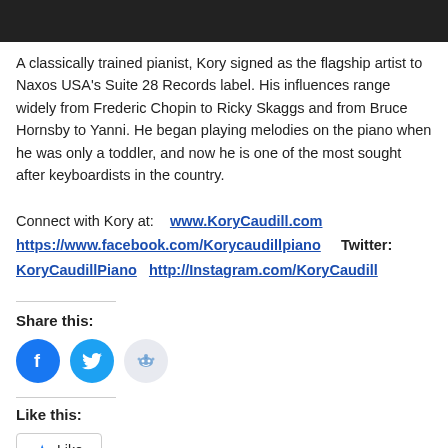[Figure (photo): Black and white photo of pianist at piano, cropped — only bottom portion visible as dark banner]
A classically trained pianist, Kory signed as the flagship artist to Naxos USA's Suite 28 Records label. His influences range widely from Frederic Chopin to Ricky Skaggs and from Bruce Hornsby to Yanni. He began playing melodies on the piano when he was only a toddler, and now he is one of the most sought after keyboardists in the country.
Connect with Kory at:   www.KoryCaudill.com https://www.facebook.com/Korycaudillpiano    Twitter: KoryCaudillPiano   http://Instagram.com/KoryCaudill
Share this:
[Figure (illustration): Social media share icons: Facebook (blue circle with f), Twitter (blue circle with bird), Reddit (light grey circle with alien mascot)]
Like this:
Like
Be the first to like this.
Amazon
Appalachia
itunes
Jerica Blair
Josh Martin